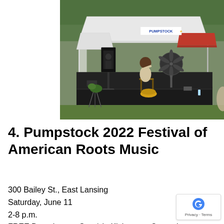[Figure (photo): Outdoor music festival scene under a large white canopy tent. A performer sits on a stool on a black stage, playing music. A large speaker and a fan are on stage. In the background, a banner reads 'PUMPSTOCK' and a red canopy is visible. Trees and a house are in the background.]
4. Pumpstock 2022 Festival of American Roots Music
300 Bailey St., East Lansing
Saturday, June 11
2-8 p.m.
FREE Donations at Gate/via Kickstarter Campaign